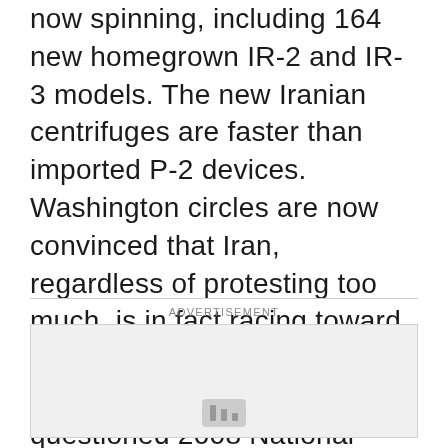now spinning, including 164 new homegrown IR-2 and IR-3 models. The new Iranian centrifuges are faster than imported P-2 devices. Washington circles are now convinced that Iran, regardless of protesting too much, is in fact racing toward a deliverable nuclear weapon. As for the CIA's much-questioned 2008 National Intelligence Estimate that concluded Iran was not pursuing nuclear weaponry, that dubious document has now been discarded as flawed.
ADVERTISEMENT
[Figure (other): Advertisement placeholder box (gray rectangle) with a small icon at the bottom center]